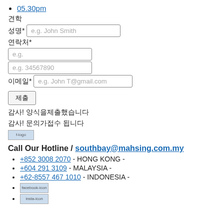05.30pm
견학
성명* [e.g. John Smith]
연락처*
[e.g.]
[e.g. 34567890]
이메일* [e.g. John T@gmail.com]
제출 [button]
감사! 양식을제출했습니다
감사! 문의가접수 됩니다
[Figure (logo): f-logo image placeholder]
Call Our Hotline / southbay@mahsing.com.my
+852 3008 2070 - HONG KONG -
+604 291 3109 - MALAYSIA -
+62-8557 467 1010 - INDONESIA -
facebook-icon
insta-icon